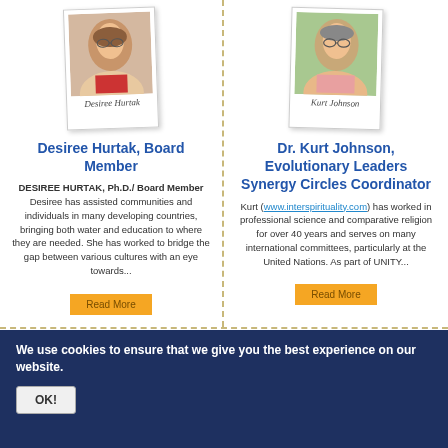[Figure (photo): Polaroid-style photo of Desiree Hurtak with handwritten caption 'Desiree Hurtak']
[Figure (photo): Polaroid-style photo of Kurt Johnson with handwritten caption 'Kurt Johnson']
Desiree Hurtak, Board Member
Dr. Kurt Johnson, Evolutionary Leaders Synergy Circles Coordinator
DESIREE HURTAK, Ph.D./ Board Member Desiree has assisted communities and individuals in many developing countries, bringing both water and education to where they are needed. She has worked to bridge the gap between various cultures with an eye towards...
Kurt (www.interspirituality.com) has worked in professional science and comparative religion for over 40 years and serves on many international committees, particularly at the United Nations. As part of UNITY...
Read More
Read More
We use cookies to ensure that we give you the best experience on our website.
OK!